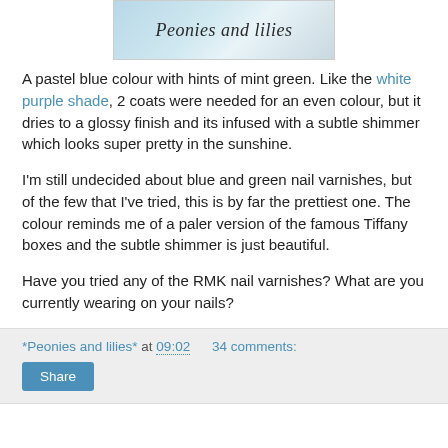[Figure (photo): Blog header image showing a nail polish bottle with script text 'Peonies and lilies' overlaid on a light blue/mint background]
A pastel blue colour with hints of mint green. Like the white purple shade, 2 coats were needed for an even colour, but it dries to a glossy finish and its infused with a subtle shimmer which looks super pretty in the sunshine.
I'm still undecided about blue and green nail varnishes, but of the few that I've tried, this is by far the prettiest one. The colour reminds me of a paler version of the famous Tiffany boxes and the subtle shimmer is just beautiful.
Have you tried any of the RMK nail varnishes? What are you currently wearing on your nails?
*Peonies and lilies* at 09:02   34 comments:  Share